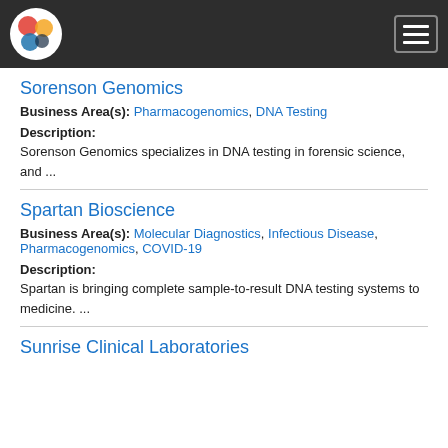Sorenson Genomics
Business Area(s): Pharmacogenomics, DNA Testing
Description:
Sorenson Genomics specializes in DNA testing in forensic science, and ...
Spartan Bioscience
Business Area(s): Molecular Diagnostics, Infectious Disease, Pharmacogenomics, COVID-19
Description:
Spartan is bringing complete sample-to-result DNA testing systems to medicine. ...
Sunrise Clinical Laboratories